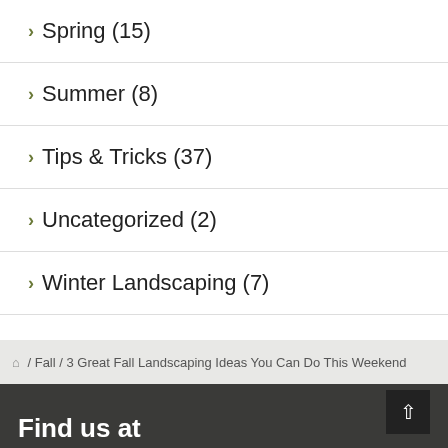Spring (15)
Summer (8)
Tips & Tricks (37)
Uncategorized (2)
Winter Landscaping (7)
/ Fall / 3 Great Fall Landscaping Ideas You Can Do This Weekend
Find us at